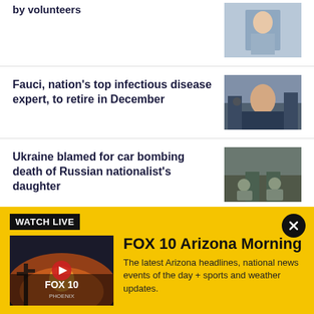by volunteers
[Figure (photo): Person in athletic wear photo thumbnail]
Fauci, nation's top infectious disease expert, to retire in December
[Figure (photo): Fauci at hearing photo thumbnail]
Ukraine blamed for car bombing death of Russian nationalist's daughter
[Figure (photo): Soldiers at scene photo thumbnail]
Firefighters battle massive house fire in north Scottsdale
[Figure (photo): Aerial view of house fire photo thumbnail]
WATCH LIVE
[Figure (screenshot): FOX 10 Phoenix logo on sunset background with play button]
FOX 10 Arizona Morning
The latest Arizona headlines, national news events of the day + sports and weather updates.